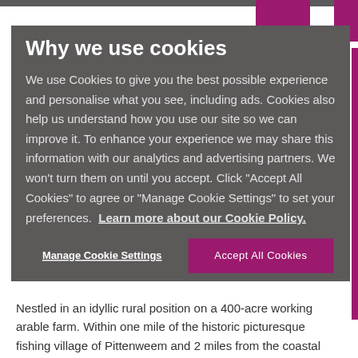[Figure (screenshot): Website cookie consent modal overlay on a property listing page. The modal has a dark grey background. Behind the modal, partial text about a property in the East Neuk of Fife is visible.]
Why we use cookies
We use Cookies to give you the best possible experience and personalise what you see, including ads. Cookies also help us understand how you use our site so we can improve it. To enhance your experience we may share this information with our analytics and advertising partners. We won’t turn them on until you accept. Click “Accept All Cookies” to agree or “Manage Cookie Settings” to set your preferences.  Learn more about our Cookie Policy.
East Neuk of Fife.
Nestled in an idyllic rural position on a 400-acre working arable farm. Within one mile of the historic picturesque fishing village of Pittenweem and 2 miles from the coastal